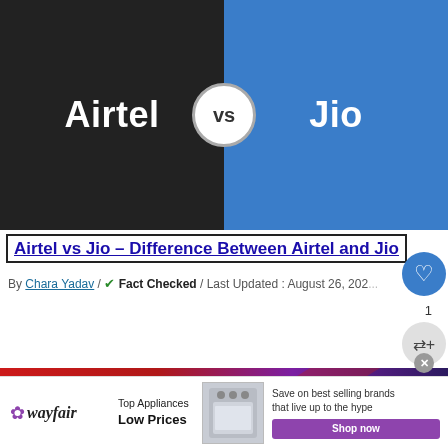[Figure (infographic): Split hero image: left half dark charcoal with 'Airtel' in white bold text, right half steel blue with 'Jio' in white bold text, a white circle with 'vs' in the center dividing the two halves.]
Airtel vs Jio – Difference Between Airtel and Jio
By Chara Yadav / ✔ Fact Checked / Last Updated : August 26, 202...
[Figure (screenshot): Alexa banner advertisement — red and purple gradient with 'Alexa' in large white bold text. On the right: 'WHAT'S NEXT →' label and 'post_title' text in a small preview box.]
[Figure (infographic): Wayfair bottom advertisement bar: Wayfair logo, 'Top Appliances Low Prices' text, image of a stove, and 'Save on best selling brands that live up to the hype' with a purple 'Shop now' button.]